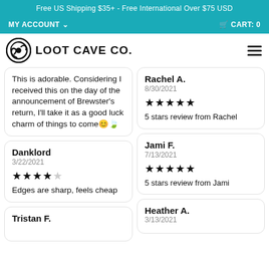Free US Shipping $35+ - Free International Over $75 USD
MY ACCOUNT ∨   🛒 CART: 0
LOOT CAVE CO.
This is adorable. Considering I received this on the day of the announcement of Brewster's return, I'll take it as a good luck charm of things to come😊🍃
Rachel A.
8/30/2021
★★★★★
5 stars review from Rachel
Danklord
3/22/2021
★★★★☆
Edges are sharp, feels cheap
Jami F.
7/13/2021
★★★★★
5 stars review from Jami
Heather A.
3/13/2021
Tristan F.